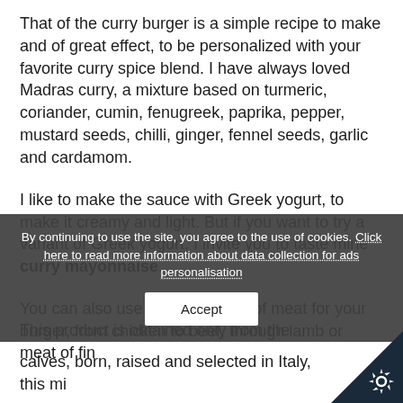That of the curry burger is a simple recipe to make and of great effect, to be personalized with your favorite curry spice blend. I have always loved Madras curry, a mixture based on turmeric, coriander, cumin, fenugreek, paprika, pepper, mustard seeds, chilli, ginger, fennel seeds, garlic and cardamom.
I like to make the sauce with Greek yogurt, to make it creamy and light. But if you want to try a variant of Greek yogurt, I invite you to taste mine curry mayonnaise.
You can also use different types of meat for your burger, from chicken to beef, through lamb or turkey. I wanted to use the veal burger from the veal of Casa Vercelli...
This product is obtained only from the meat of fine calves, born, raised and selected in Italy, this mi...